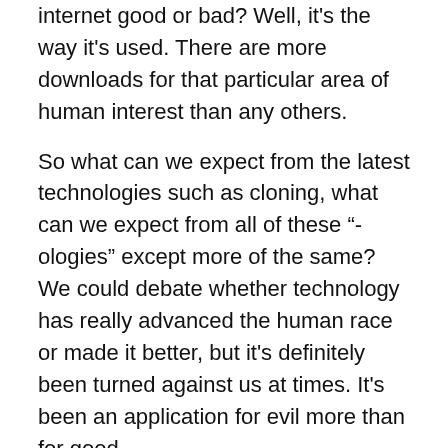internet good or bad? Well, it's the way it's used. There are more downloads for that particular area of human interest than any others.
So what can we expect from the latest technologies such as cloning, what can we expect from all of these "-ologies" except more of the same? We could debate whether technology has really advanced the human race or made it better, but it's definitely been turned against us at times. It's been an application for evil more than for good.
“It can't just be any body; it's going to have to be an engineered body.”
WND: Transhumanism is a modern philosophical system that veers from technology right into metaphysics. A central idea in this philosophy is that humanity as we know it is a transitional state.